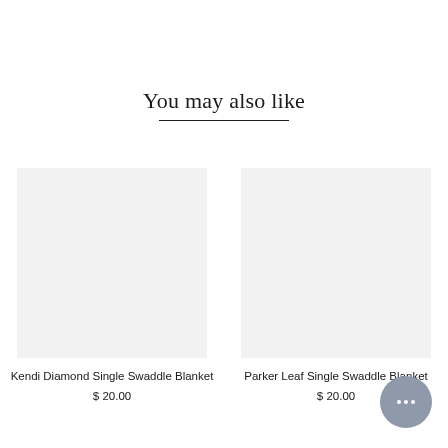You may also like
Kendi Diamond Single Swaddle Blanket
$ 20.00
Parker Leaf Single Swaddle Blanket
$ 20.00